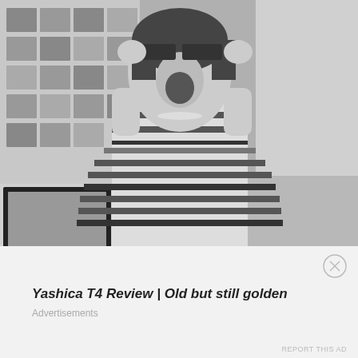[Figure (photo): Black and white photograph of a young Asian girl in a striped dress looking up through 3D glasses with mouth open in excitement, sitting in what appears to be a classroom. Photo wall with various portraits visible in the background, and a framed photograph on a table to the left.]
Yashica T4 Review | Old but still golden
Advertisements